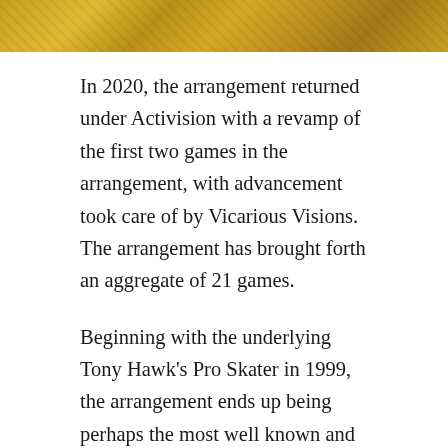[Figure (photo): Cropped photo strip at the top of the page showing a golden/yellow toned image, likely a skateboarding or Tony Hawk related image]
In 2020, the arrangement returned under Activision with a revamp of the first two games in the arrangement, with advancement took care of by Vicarious Visions. The arrangement has brought forth an aggregate of 21 games.
Beginning with the underlying Tony Hawk’s Pro Skater in 1999, the arrangement ends up being perhaps the most well known and top-rated computer game establishments of the mid-2000s. Three all the more Pro Skater games were delivered from 2000 to 2002, after which the designers adopted a more story-arranged strategy with the arrivals of Underground,